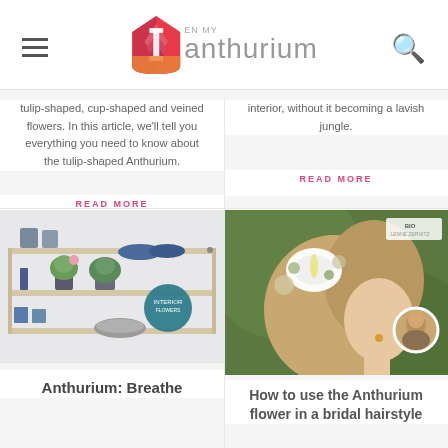EN Anthurium
tulip-shaped, cup-shaped and veined flowers. In this article, we'll tell you everything you need to know about the tulip-shaped Anthurium.
READ MORE
interior, without it becoming a lavish jungle.
READ MORE
[Figure (photo): Shelf with plants, Anthurium and home decor items, with a teal badge overlay]
[Figure (photo): Side profile of a bride with white Anthurium flower in hair wreath, with author circle overlay]
Anthurium: Breathe
How to use the Anthurium flower in a bridal hairstyle